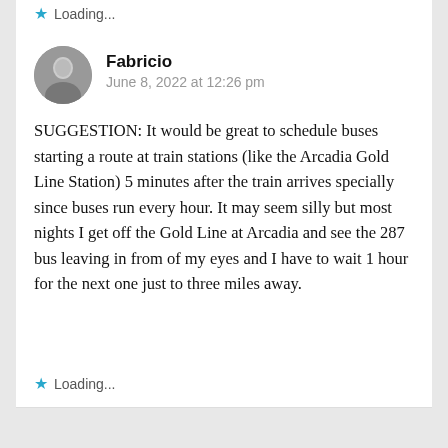Loading...
Fabricio
June 8, 2022 at 12:26 pm
SUGGESTION: It would be great to schedule buses starting a route at train stations (like the Arcadia Gold Line Station) 5 minutes after the train arrives specially since buses run every hour. It may seem silly but most nights I get off the Gold Line at Arcadia and see the 287 bus leaving in from of my eyes and I have to wait 1 hour for the next one just to three miles away.
Loading...